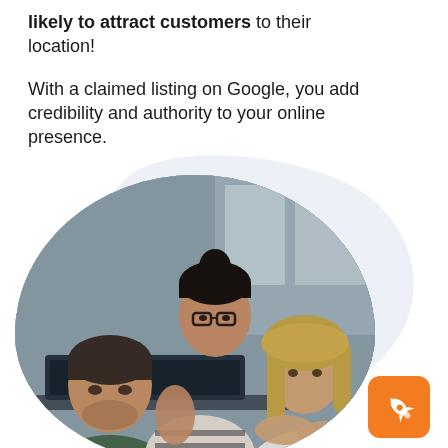likely to attract customers to their location! With a claimed listing on Google, you add credibility and authority to your online presence.
[Figure (photo): Three young professionals gathered around a laptop in an office setting. A woman with glasses and dark hair in a bun leans over pointing at the screen, another woman with long blonde hair sits on the right looking at the screen, and a man with short brown hair sits on the left also looking at the screen. An orange rounded-square badge with a white rocket icon appears in the bottom-right corner.]